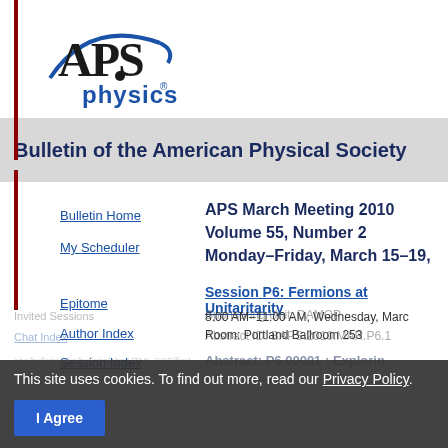[Figure (logo): APS Physics logo — black serif APS letters with blue arc/swoosh and dot, 'physics' in blue below]
Bulletin of the American Physical Society
APS March Meeting 2010
Volume 55, Number 2
Monday–Friday, March 15–19,
Session P6: Fermions at Unitarity
8:00 AM–11:00 AM, Wednesday, March
Room: Portland Ballroom 253
Bulletin Home
My Scheduler
Epitome
Author Index
Session Index
Sponsoring Unit: DAMOP
Abstract ID: BAPS.2010.MAR.P6.1
Abstract: P6.00001 : Exploring
This site uses cookies. To find out more, read our Privacy Policy.